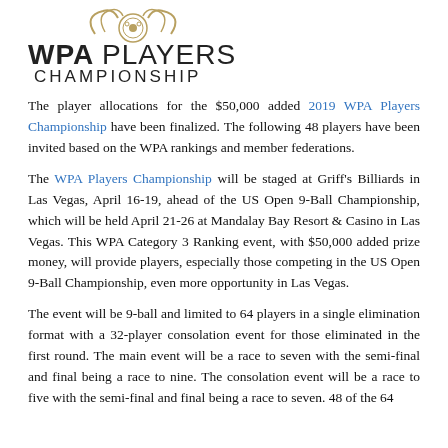[Figure (logo): WPA Players Championship logo with decorative emblem above bold text 'WPA PLAYERS CHAMPIONSHIP']
The player allocations for the $50,000 added 2019 WPA Players Championship have been finalized. The following 48 players have been invited based on the WPA rankings and member federations.
The WPA Players Championship will be staged at Griff's Billiards in Las Vegas, April 16-19, ahead of the US Open 9-Ball Championship, which will be held April 21-26 at Mandalay Bay Resort & Casino in Las Vegas. This WPA Category 3 Ranking event, with $50,000 added prize money, will provide players, especially those competing in the US Open 9-Ball Championship, even more opportunity in Las Vegas.
The event will be 9-ball and limited to 64 players in a single elimination format with a 32-player consolation event for those eliminated in the first round. The main event will be a race to seven with the semi-final and final being a race to nine. The consolation event will be a race to five with the semi-final and final being a race to seven. 48 of the 64